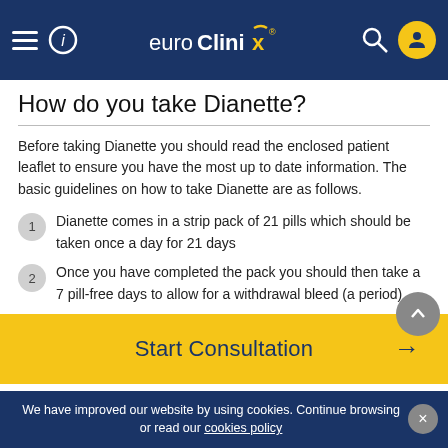euroClinix
How do you take Dianette?
Before taking Dianette you should read the enclosed patient leaflet to ensure you have the most up to date information. The basic guidelines on how to take Dianette are as follows.
Dianette comes in a strip pack of 21 pills which should be taken once a day for 21 days
Once you have completed the pack you should then take a 7 pill-free days to allow for a withdrawal bleed (a period)
Start Consultation →
We have improved our website by using cookies. Continue browsing or read our cookies policy